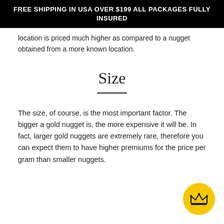FREE SHIPPING IN USA OVER $199 ALL PACKAGES FULLY INSURED
location is priced much higher as compared to a nugget obtained from a more known location.
Size
The size, of course, is the most important factor. The bigger a gold nugget is, the more expensive it will be. In fact, larger gold nuggets are extremely rare, therefore you can expect them to have higher premiums for the price per gram than smaller nuggets.
[Figure (illustration): Yellow circular badge with a crown icon]